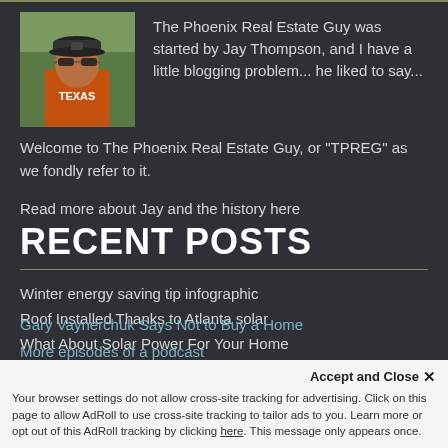[Figure (photo): Photo of Jay Thompson, a man in an orange Texas shirt and sunglasses, outdoors]
The Phoenix Real Estate Guy was started by Jay Thompson, and I have a little blogging problem... he liked to say...
Welcome to The Phoenix Real Estate Guy, or "TPREG" as we fondly refer to it.
Read more about Jay and the history here
RECENT POSTS
Winter energy saving tip infographic
Roof Installed Thanks to Atlanta solar
What About Solar Power For Your Home
RE Bar Camp Phoenix X10
Why a national MLS is bad for agents and consumers
Gary Vaynerchuk Says Not to Buy a Home
More episodes of a podcast
Accept and Close ✕
Your browser settings do not allow cross-site tracking for advertising. Click on this page to allow AdRoll to use cross-site tracking to tailor ads to you. Learn more or opt out of this AdRoll tracking by clicking here. This message only appears once.